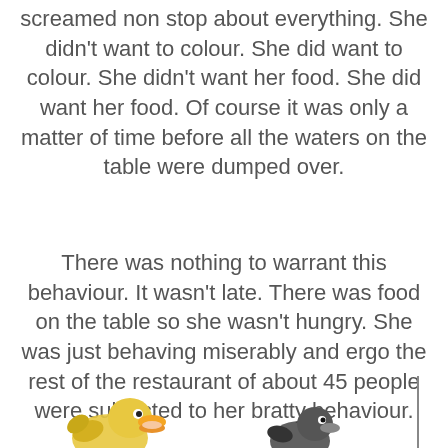screamed non stop about everything. She didn't want to colour. She did want to colour. She didn't want her food. She did want her food. Of course it was only a matter of time before all the waters on the table were dumped over.
There was nothing to warrant this behaviour. It wasn't late. There was food on the table so she wasn't hungry. She was just behaving miserably and ergo the rest of the restaurant of about 45 people were subjected to her bratty behaviour.
[Figure (illustration): Cartoon illustration showing two cartoon bird/duck characters at the bottom of the page, partially cropped, with a vertical line on the right side.]